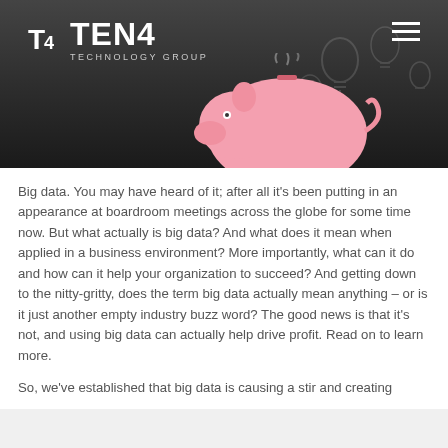[Figure (photo): TEN4 Technology Group website header banner with logo on dark gray background and a pink piggy bank image in the center-bottom area with light bulb graphics in background]
Big data. You may have heard of it; after all it's been putting in an appearance at boardroom meetings across the globe for some time now. But what actually is big data? And what does it mean when applied in a business environment? More importantly, what can it do and how can it help your organization to succeed? And getting down to the nitty-gritty, does the term big data actually mean anything – or is it just another empty industry buzz word? The good news is that it's not, and using big data can actually help drive profit. Read on to learn more.
So, we've established that big data is causing a stir and creating